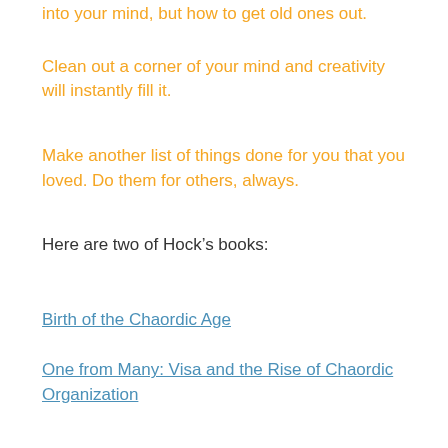into your mind, but how to get old ones out.
Clean out a corner of your mind and creativity will instantly fill it.
Make another list of things done for you that you loved. Do them for others, always.
Here are two of Hock’s books:
Birth of the Chaordic Age
One from Many: Visa and the Rise of Chaordic Organization
Which rules in your family – chaos or order? Or both?
~*~*~*~*~*~